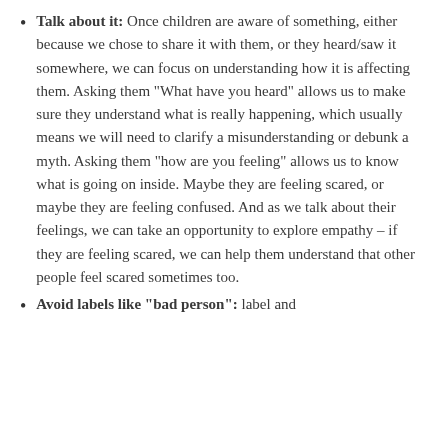Talk about it: Once children are aware of something, either because we chose to share it with them, or they heard/saw it somewhere, we can focus on understanding how it is affecting them. Asking them “What have you heard” allows us to make sure they understand what is really happening, which usually means we will need to clarify a misunderstanding or debunk a myth. Asking them “how are you feeling” allows us to know what is going on inside. Maybe they are feeling scared, or maybe they are feeling confused. And as we talk about their feelings, we can take an opportunity to explore empathy – if they are feeling scared, we can help them understand that other people feel scared sometimes too.
Avoid labels like “bad person”: label and...